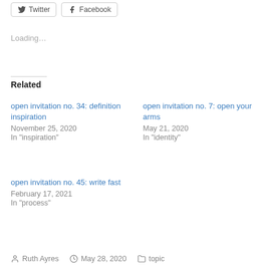[Figure (other): Twitter and Facebook share buttons]
Loading…
Related
open invitation no. 34: definition inspiration
November 25, 2020
In "inspiration"
open invitation no. 7: open your arms
May 21, 2020
In "identity"
open invitation no. 45: write fast
February 17, 2021
In "process"
Ruth Ayres  May 28, 2020  topic